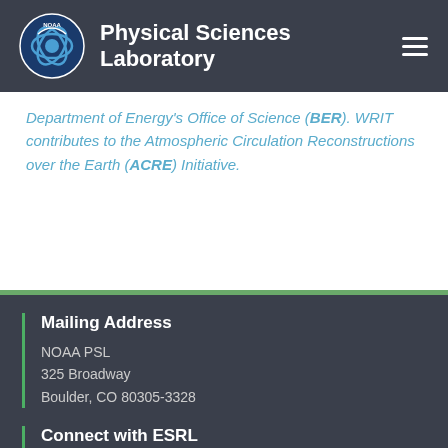Physical Sciences Laboratory
Department of Energy's Office of Science (BER). WRIT contributes to the Atmospheric Circulation Reconstructions over the Earth (ACRE) Initiative.
Mailing Address
NOAA PSL
325 Broadway
Boulder, CO 80305-3328
Connect with ESRL
[Figure (logo): Social media icons: Facebook, Twitter, YouTube, Flickr]